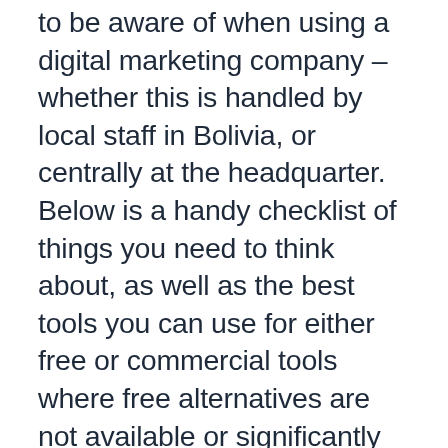to be aware of when using a digital marketing company – whether this is handled by local staff in Bolivia, or centrally at the headquarter. Below is a handy checklist of things you need to think about, as well as the best tools you can use for either free or commercial tools where free alternatives are not available or significantly inferior to the commercial ones.
Majestic.Com